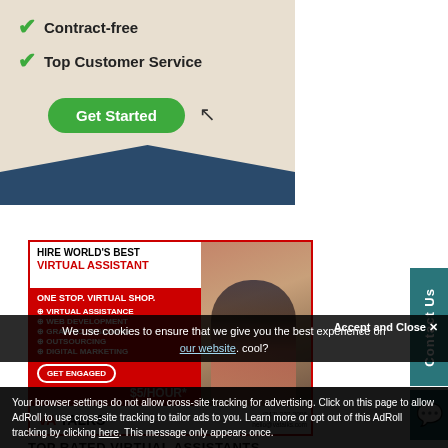[Figure (illustration): Top banner ad showing checkmarks for Contract-free and Top Customer Service with a green Get Started button, beige and dark blue background with cursor icon.]
[Figure (infographic): VA Talks advertisement. Red background. Text: HIRE WORLD'S BEST VIRTUAL ASSISTANT. ONE STOP. VIRTUAL SHOP. Services: VIRTUAL ASSISTANCE, WEB DEVELOPMENT, GRAPHIC DESIGNING, OUTSOURCING, DIGITAL MARKETING. GET ENGAGED button. $5/HOUR*. Photo of woman with laptop. Logo: VA TALKS. Contact: (347) 227-2006, hello@vatalks.com]
Contact Us
TOP RATED VIRTUAL ASSISTANTS
We use cookies to ensure that we give you the best experience on our website. cool?
Accept and Close ✕
Your browser settings do not allow cross-site tracking for advertising. Click on this page to allow AdRoll to use cross-site tracking to tailor ads to you. Learn more or opt out of this AdRoll tracking by clicking here. This message only appears once.